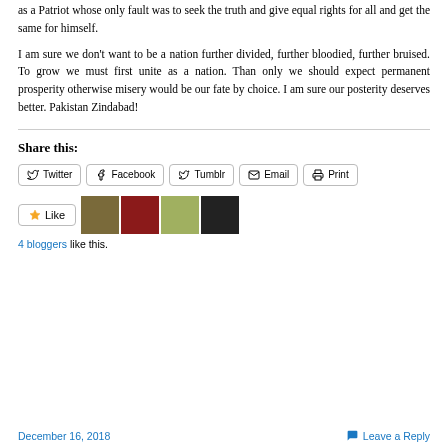as a Patriot whose only fault was to seek the truth and give equal rights for all and get the same for himself.
I am sure we don't want to be a nation further divided, further bloodied, further bruised. To grow we must first unite as a nation. Than only we should expect permanent prosperity otherwise misery would be our fate by choice. I am sure our posterity deserves better. Pakistan Zindabad!
Share this:
Twitter  Facebook  Tumblr  Email  Print
Like  [thumbnails]  4 bloggers like this.
December 16, 2018    Leave a Reply